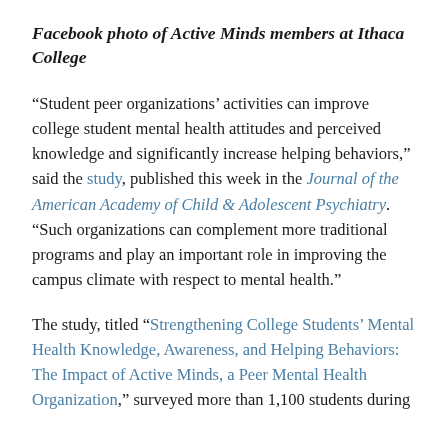Facebook photo of Active Minds members at Ithaca College
“Student peer organizations’ activities can improve college student mental health attitudes and perceived knowledge and significantly increase helping behaviors,” said the study, published this week in the Journal of the American Academy of Child & Adolescent Psychiatry. “Such organizations can complement more traditional programs and play an important role in improving the campus climate with respect to mental health.”
The study, titled “Strengthening College Students’ Mental Health Knowledge, Awareness, and Helping Behaviors: The Impact of Active Minds, a Peer Mental Health Organization,” surveyed more than 1,100 students during